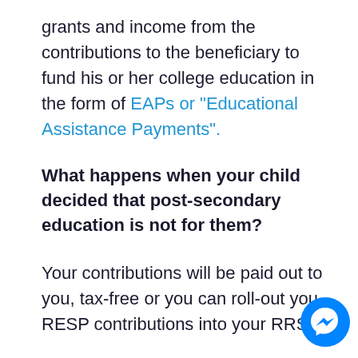grants and income from the contributions to the beneficiary to fund his or her college education in the form of EAPs or “Educational Assistance Payments”.
What happens when your child decided that post-secondary education is not for them?
Your contributions will be paid out to you, tax-free or you can roll-out your RESP contributions into your RRS